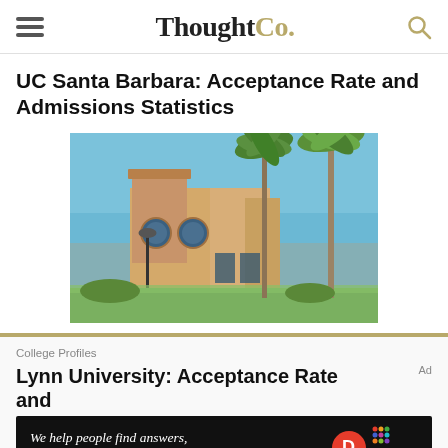ThoughtCo.
UC Santa Barbara: Acceptance Rate and Admissions Statistics
[Figure (photo): Photo of UC Santa Barbara campus building with two circular windows, green lawns, palm trees, and blue sky]
College Profiles
Lynn University: Acceptance Rate and
Ad
We help people find answers, solve problems and get inspired. Dotdash meredith